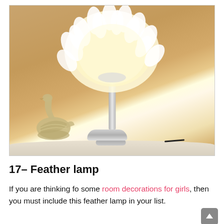[Figure (photo): A feather table lamp with a large white fluffy feather lampshade, chrome stem and base, glowing warm light, next to a silver swan decorative figurine on a white round table, warm beige/tan background.]
17– Feather lamp
If you are thinking fo some room decorations for girls, then you must include this feather lamp in your list.